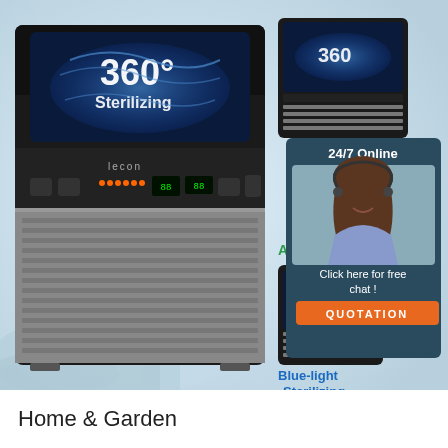Auto Cleaning+Blue-light Inhibited
[Figure (photo): Product advertisement showing a lecon brand commercial ice maker machine with blue UV sterilizing light (360° Sterilizing label), stainless steel body, digital control panel. Right side shows smaller product images, a customer service agent chat widget with '24/7 Online', 'Click here for free chat!' text, an orange QUOTATION button, 'Auto Cleaning' green label, and 'Blue-light Sterilizing' blue label. A red TOP icon with dots appears at bottom right of the image area.]
Home & Garden